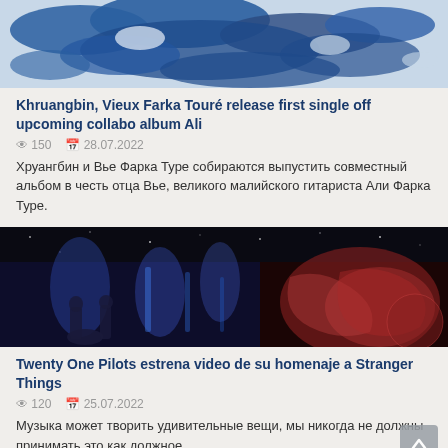[Figure (photo): Blue and white abstract image, partially cropped at top]
Khruangbin, Vieux Farka Touré release first single off upcoming collabo album Ali
150   28.07.2022
Хруангбин и Вье Фарка Туре собираются выпустить совместный альбом в честь отца Вье, великого малийского гитариста Али Фарка Туре.
[Figure (photo): Concert scene on left half (blue stage lights, performers) and sci-fi/alien imagery on right half, dark background]
Twenty One Pilots estrena video de su homenaje a Stranger Things
120   25.07.2022
Музыка может творить удивительные вещи, мы никогда не должны принимать это как должное